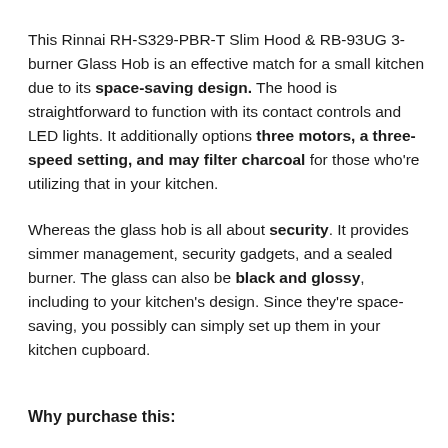This Rinnai RH-S329-PBR-T Slim Hood & RB-93UG 3-burner Glass Hob is an effective match for a small kitchen due to its space-saving design. The hood is straightforward to function with its contact controls and LED lights. It additionally options three motors, a three-speed setting, and may filter charcoal for those who're utilizing that in your kitchen.
Whereas the glass hob is all about security. It provides simmer management, security gadgets, and a sealed burner. The glass can also be black and glossy, including to your kitchen's design. Since they're space-saving, you possibly can simply set up them in your kitchen cupboard.
Why purchase this: